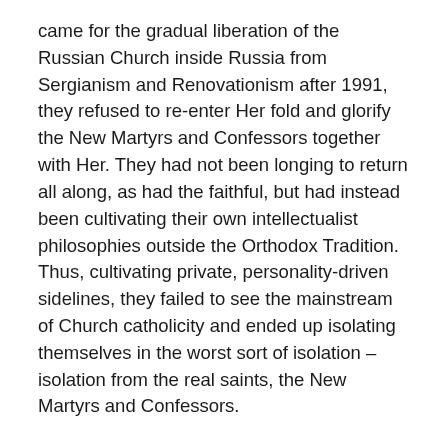came for the gradual liberation of the Russian Church inside Russia from Sergianism and Renovationism after 1991, they refused to re-enter Her fold and glorify the New Martyrs and Confessors together with Her. They had not been longing to return all along, as had the faithful, but had instead been cultivating their own intellectualist philosophies outside the Orthodox Tradition. Thus, cultivating private, personality-driven sidelines, they failed to see the mainstream of Church catholicity and ended up isolating themselves in the worst sort of isolation – isolation from the real saints, the New Martyrs and Confessors.
This meant that they allied themselves only with the vestigial renovationist and sectarian elements on the fringes of the Russian Church inside Russia. It also meant that they sullied themselves with politics (under the pretence of being apolitical!, which is always political). Thus, they allied themselves with Russophobic elements in the Western world, for example, with the self-justifying neocon hawks and past-